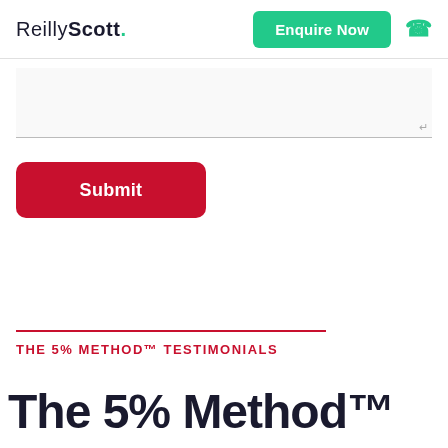ReillyScott.
[Figure (other): Enquire Now button (green) and phone icon (green) in the header]
[Figure (other): Text area input field with resize handle icon]
[Figure (other): Red Submit button with rounded corners]
THE 5% METHOD™ TESTIMONIALS
The 5% Method™